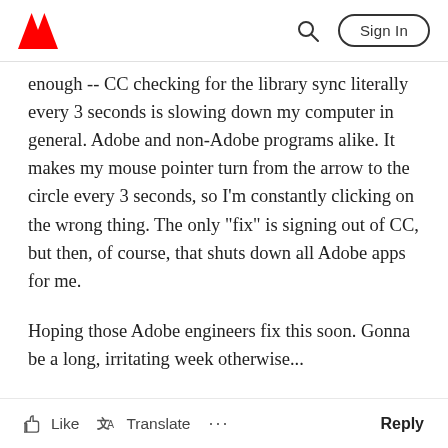Adobe | Sign In
enough -- CC checking for the library sync literally every 3 seconds is slowing down my computer in general. Adobe and non-Adobe programs alike. It makes my mouse pointer turn from the arrow to the circle every 3 seconds, so I'm constantly clicking on the wrong thing. The only "fix" is signing out of CC, but then, of course, that shuts down all Adobe apps for me.
Hoping those Adobe engineers fix this soon. Gonna be a long, irritating week otherwise...
Like  Translate  ...  Reply